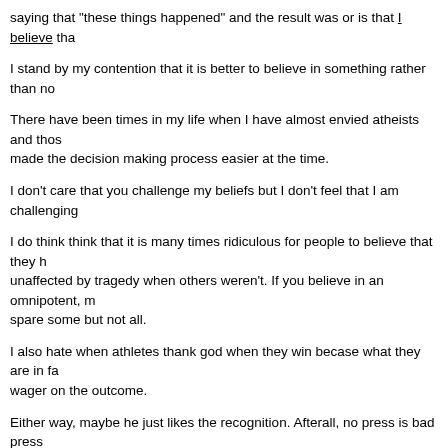saying that "these things happened" and the result was or is that I believe tha
I stand by my contention that it is better to believe in something rather than no
There have been times in my life when I have almost envied atheists and thos made the decision making process easier at the time.
I don't care that you challenge my beliefs but I don't feel that I am challenging
I do think think that it is many times ridiculous for people to believe that they h unaffected by tragedy when others weren't. If you believe in an omnipotent, m spare some but not all.
I also hate when athletes thank god when they win becase what they are in fa wager on the outcome.
Either way, maybe he just likes the recognition. Afterall, no press is bad press
Praise the lord and pass the ammunition
youjustcomplain
Übergod
Re: Have you ever experienced Divine Intervention?
May 5th, 2017, 9:10